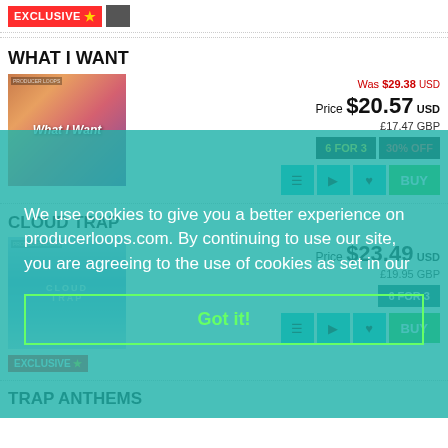[Figure (screenshot): EXCLUSIVE badge with star icon and thumbnail image at top]
WHAT I WANT
[Figure (photo): Album art for What I Want - silhouette of couple against colorful sky]
Was $29.38 USD
Price $20.57 USD £17.47 GBP
6 FOR 3  30% OFF
BUY
CLOUD TRAP
[Figure (photo): Album art for Cloud Trap - cloudy sky]
Price $23.49 USD £19.95 GBP
6 FOR 3
BUY
We use cookies to give you a better experience on producerloops.com. By continuing to use our site, you are agreeing to the use of cookies as set in our
Got it!
TRAP ANTHEMS